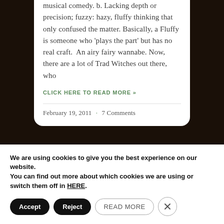musical comedy. b. Lacking depth or precision; fuzzy: hazy, fluffy thinking that only confused the matter. Basically, a Fluffy is someone who 'plays the part' but has no real craft. An airy fairy wannabe. Now, there are a lot of Trad Witches out there, who
CLICK HERE TO READ MORE »
February 19, 2011 · 7 Comments
[Figure (photo): Dark background photo area showing partial view of plants and decorative items]
We are using cookies to give you the best experience on our website.
You can find out more about which cookies we are using or switch them off in HERE.